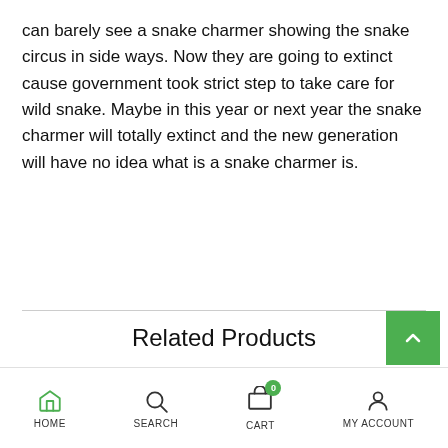can barely see a snake charmer showing the snake circus in side ways. Now they are going to extinct cause government took strict step to take care for wild snake. Maybe in this year or next year the snake charmer will totally extinct and the new generation will have no idea what is a snake charmer is.
Related Products
HOME  SEARCH  CART  MY ACCOUNT